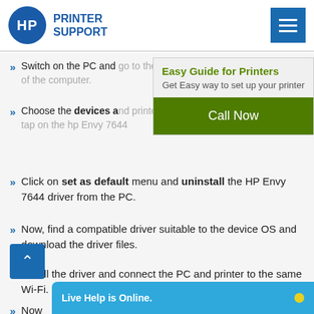HP PRINTER SUPPORT
Switch on the PC and go to the control panel of the computer.
Choose the devices and printers menu and tap on the hp Envy 7644
[Figure (infographic): Popup overlay with 'Easy Guide for Printers' heading, subtext 'Get Easy way to set up your printer', and a green 'Call Now' button]
Click on set as default menu and uninstall the HP Envy 7644 driver from the PC.
Now, find a compatible driver suitable to the device OS and download the driver files.
Install the driver and connect the PC and printer to the same Wi-Fi.
Now
[Figure (screenshot): Live Help is Online. chat bar at the bottom of the page]